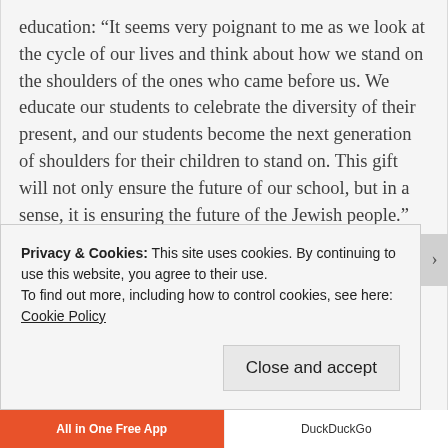education: “It seems very poignant to me as we look at the cycle of our lives and think about how we stand on the shoulders of the ones who came before us. We educate our students to celebrate the diversity of their present, and our students become the next generation of shoulders for their children to stand on. This gift will not only ensure the future of our school, but in a sense, it is ensuring the future of the Jewish people.”
If it is true that imitation is the highest form of compliment, we hope there will be local philanthropists of equal mind, heart and caring for the future of the Jewish people to pay high compliments to the Carlen...
Privacy & Cookies: This site uses cookies. By continuing to use this website, you agree to their use.
To find out more, including how to control cookies, see here: Cookie Policy
Close and accept